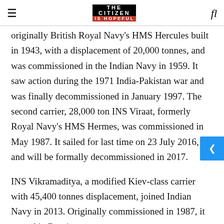THE CITIZEN IS HOPEFUL
originally British Royal Navy's HMS Hercules built in 1943, with a displacement of 20,000 tonnes, and was commissioned in the Indian Navy in 1959. It saw action during the 1971 India-Pakistan war and was finally decommissioned in January 1997. The second carrier, 28,000 ton INS Viraat, formerly Royal Navy's HMS Hermes, was commissioned in May 1987. It sailed for last time on 23 July 2016, and will be formally decommissioned in 2017.
INS Vikramaditya, a modified Kiev-class carrier with 45,400 tonnes displacement, joined Indian Navy in 2013. Originally commissioned in 1987, it served in Russian